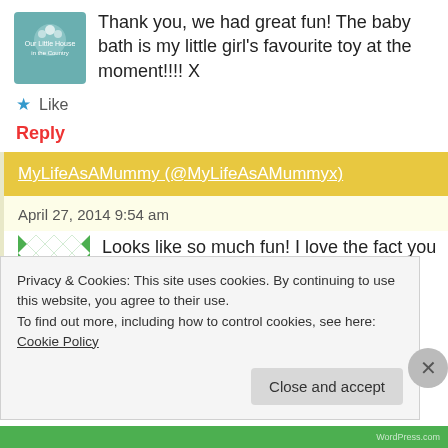Thank you, we had great fun! The baby bath is my little girl's favourite toy at the moment!!!! X
★ Like
Reply
MyLifeAsAMummy (@MyLifeAsAMummyx)
April 27, 2014 9:54 am
Looks like so much fun! I love the fact you let the children take the lead in this.
Privacy & Cookies: This site uses cookies. By continuing to use this website, you agree to their use.
To find out more, including how to control cookies, see here: Cookie Policy
Close and accept